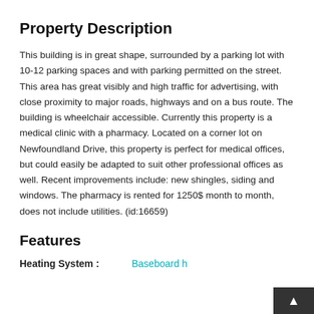Property Description
This building is in great shape, surrounded by a parking lot with 10-12 parking spaces and with parking permitted on the street. This area has great visibly and high traffic for advertising, with close proximity to major roads, highways and on a bus route. The building is wheelchair accessible. Currently this property is a medical clinic with a pharmacy. Located on a corner lot on Newfoundland Drive, this property is perfect for medical offices, but could easily be adapted to suit other professional offices as well. Recent improvements include: new shingles, siding and windows. The pharmacy is rented for 1250$ month to month, does not include utilities. (id:16659)
Features
Heating System : Baseboard h